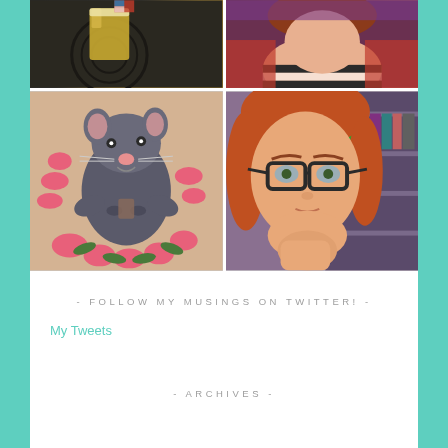[Figure (photo): Four-photo grid: top-left shows a beer glass on a dark mat; top-right shows a woman from neck-up in red plaid; bottom-left shows a hamster/rat tattoo with pink flowers; bottom-right shows a red-haired woman with glasses resting chin on hand in front of bookshelves.]
- FOLLOW MY MUSINGS ON TWITTER! -
My Tweets
- ARCHIVES -